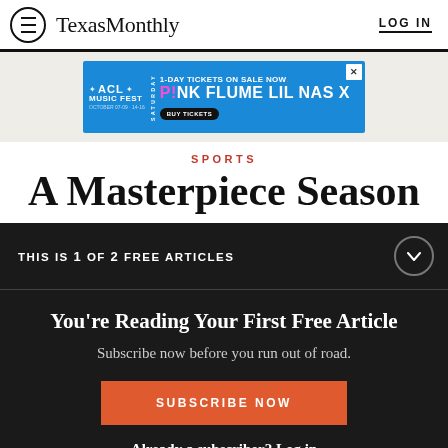Texas Monthly — LOG IN
[Figure (other): ACL Music Fest advertisement banner: 1-Day Tickets On Sale Now. Saturday. P!NK FLUME LIL NAS X. Buy Tickets.]
SPORTS
A Masterpiece Season
THIS IS 1 OF 2 FREE ARTICLES
You're Reading Your First Free Article
Subscribe now before you run out of road.
SUBSCRIBE NOW
Already a subscriber? Log in